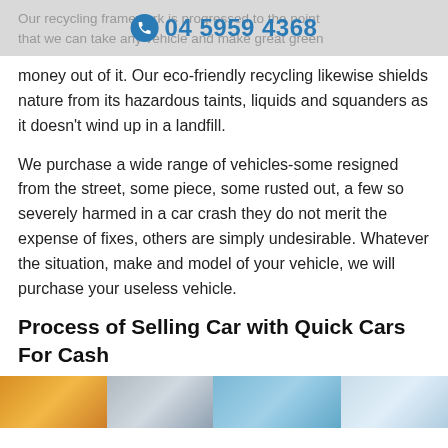Our recycling framework is progressed to the point that we can take any vehicle and make great green  | 04 5959 4368
money out of it. Our eco-friendly recycling likewise shields nature from its hazardous taints, liquids and squanders as it doesn’t wind up in a landfill.
We purchase a wide range of vehicles-some resigned from the street, some piece, some rusted out, a few so severely harmed in a car crash they do not merit the expense of fixes, others are simply undesirable. Whatever the situation, make and model of your vehicle, we will purchase your useless vehicle.
Process of Selling Car with Quick Cars For Cash
[Figure (photo): Strip of car-related images at the bottom of the page showing various vehicles]